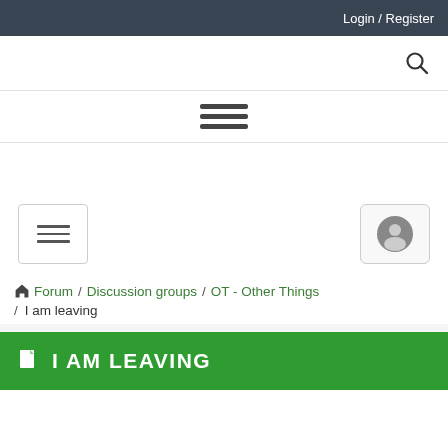Login / Register
[Figure (other): Search icon (magnifying glass)]
[Figure (other): Hamburger menu icon with three horizontal lines]
[Figure (other): Mobile navigation bar with menu button and user account button]
Forum / Discussion groups / OT - Other Things / I am leaving
I AM LEAVING